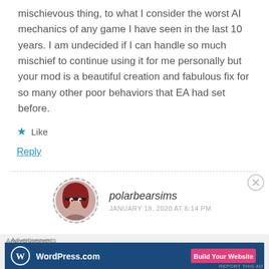mischievous thing, to what I consider the worst AI mechanics of any game I have seen in the last 10 years. I am undecided if I can handle so much mischief to continue using it for me personally but your mod is a beautiful creation and fabulous fix for so many other poor behaviors that EA had set before.
Like
Reply
polarbearsims
JANUARY 18, 2020 AT 6:14 PM
Advertisements
[Figure (screenshot): WordPress.com advertisement banner with blue background, WordPress logo on left, and pink 'Build Your Website' button on right]